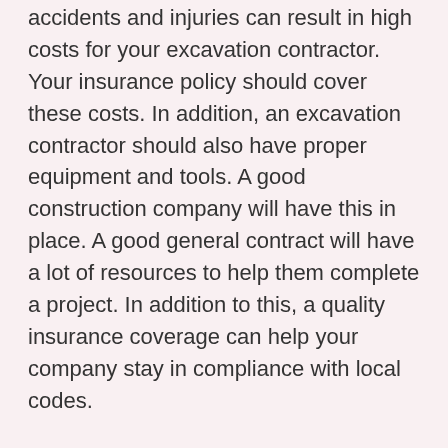accidents and injuries can result in high costs for your excavation contractor. Your insurance policy should cover these costs. In addition, an excavation contractor should also have proper equipment and tools. A good construction company will have this in place. A good general contract will have a lot of resources to help them complete a project. In addition to this, a quality insurance coverage can help your company stay in compliance with local codes.
An excavation contractor should have a good understanding of the area's soil conditions and desired outcome. He should also have a well-rounded knowledge of septic systems, drainage, and engineering plans. A reputable excavation contractor should be able to provide a full range of services, including land clearing, grading, foundations, and utility trenching. A good excavation contractor should follow safety guidelines while on the jobsite. In addition, an